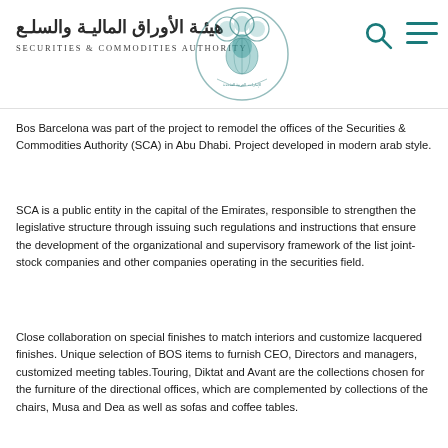[Figure (logo): Securities & Commodities Authority logo with Arabic text and emblem]
Bos Barcelona was part of the project to remodel the offices of the Securities & Commodities Authority (SCA) in Abu Dhabi. Project developed in modern arab style.
SCA is a public entity in the capital of the Emirates, responsible to strengthen the legislative structure through issuing such regulations and instructions that ensure the development of the organizational and supervisory framework of the list joint-stock companies and other companies operating in the securities field.
Close collaboration on special finishes to match interiors and customize lacquered finishes. Unique selection of BOS items to furnish CEO, Directors and managers, customized meeting tables.Touring, Diktat and Avant are the collections chosen for the furniture of the directional offices, which are complemented by collections of the chairs, Musa and Dea as well as sofas and coffee tables.